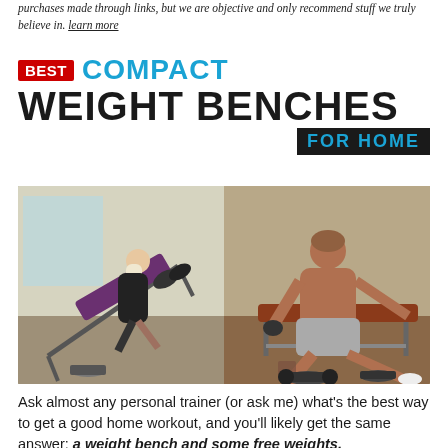purchases made through links, but we are objective and only recommend stuff we truly believe in. learn more
[Figure (infographic): Infographic banner with text: BEST COMPACT WEIGHT BENCHES FOR HOME]
[Figure (photo): Side-by-side photos of people using weight benches in a gym. Left: blonde woman using an incline bench. Right: muscular shirtless man leaning on a weight bench with dumbbells on the floor.]
Ask almost any personal trainer (or ask me) what's the best way to get a good home workout, and you'll likely get the same answer: a weight bench and some free weights.